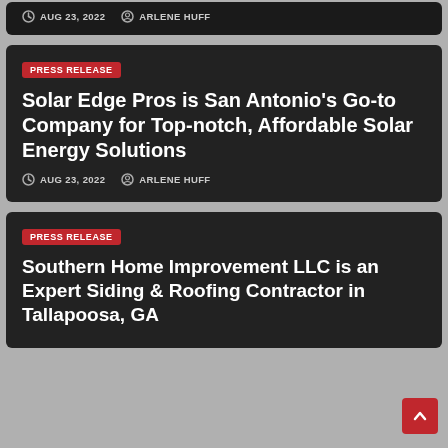AUG 23, 2022  ARLENE HUFF
PRESS RELEASE
Solar Edge Pros is San Antonio's Go-to Company for Top-notch, Affordable Solar Energy Solutions
AUG 23, 2022  ARLENE HUFF
PRESS RELEASE
Southern Home Improvement LLC is an Expert Siding & Roofing Contractor in Tallapoosa, GA